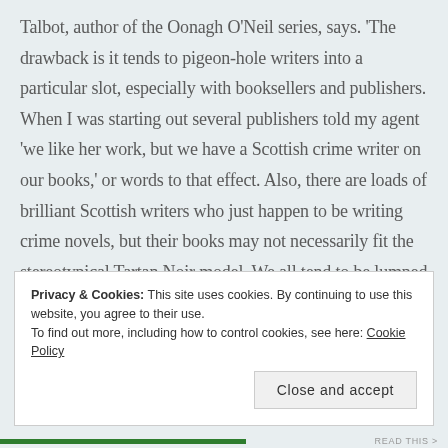Talbot, author of the Oonagh O'Neil series, says. 'The drawback is it tends to pigeon-hole writers into a particular slot, especially with booksellers and publishers. When I was starting out several publishers told my agent 'we like her work, but we have a Scottish crime writer on our books,' or words to that effect. Also, there are loads of brilliant Scottish writers who just happen to be writing crime novels, but their books may not necessarily fit the stereotypical Tartan Noir model. We all tend to be lumped in together, but I have to say it's a pretty lovely bunch to be lumped in with.'
Privacy & Cookies: This site uses cookies. By continuing to use this website, you agree to their use.
To find out more, including how to control cookies, see here: Cookie Policy
Close and accept